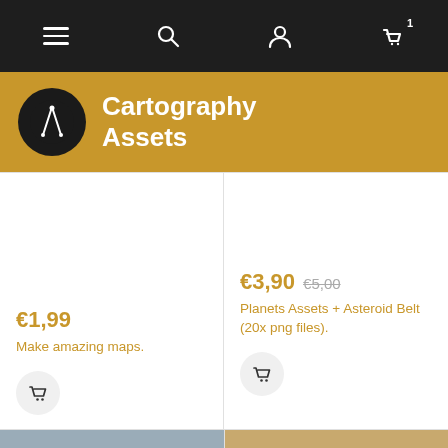Navigation bar with menu, search, account, and cart (1 item) icons
Cartography Assets
€1,99
Make amazing maps.
€3,90  €5,00
Planets Assets + Asteroid Belt (20x png files).
[Figure (screenshot): Partial product images at bottom: left shows a parchment-style map thumbnail with text beginning 'T', right shows a sandy parchment with text 'Anzhe's']